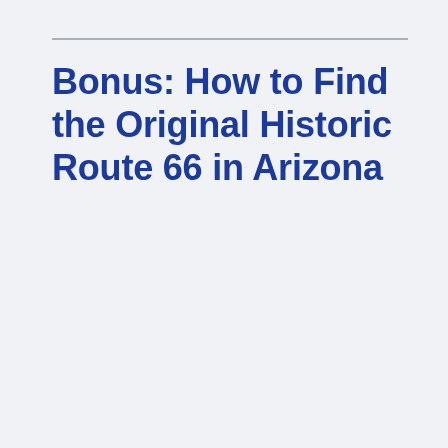Bonus: How to Find the Original Historic Route 66 in Arizona